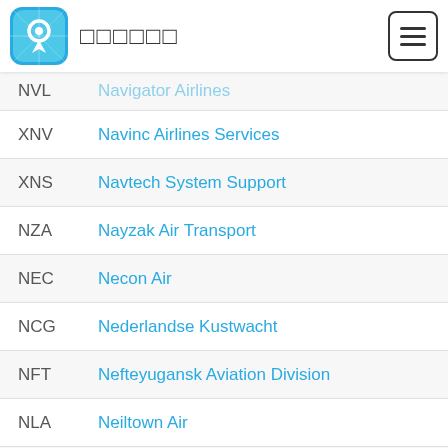App header with logo and menu icon
NVL  Navigator Airlines
XNV  Navinc Airlines Services
XNS  Navtech System Support
NZA  Nayzak Air Transport
NEC  Necon Air
NCG  Nederlandse Kustwacht
NFT  Nefteyugansk Aviation Division
NLA  Neiltown Air
NLG  NEL Cargo
NLC  Nelair Charters